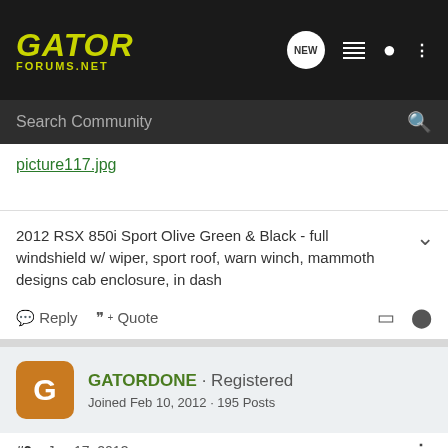GATOR FORUMS.NET
picture117.jpg
2012 RSX 850i Sport Olive Green & Black - full windshield w/ wiper, sport roof, warn winch, mammoth designs cab enclosure, in dash
Reply  Quote
GATORDONE · Registered
Joined Feb 10, 2012 · 195 Posts
#2 · Jan 17, 2013
Welcome aboard Comtec, I had one do the same thing after running for short period of time and found the fuel supply hose was partially pinched shut. Also check to make sure the fuel